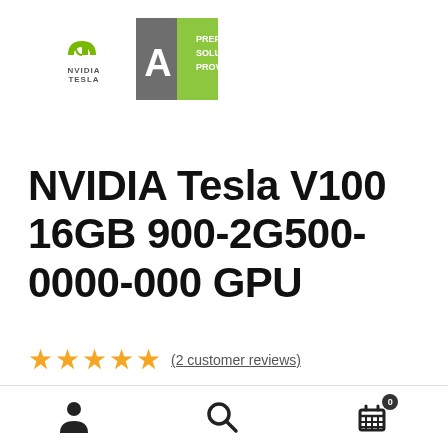[Figure (logo): NVIDIA Tesla logo — green NVIDIA emblem with 'TESLA' text below]
[Figure (logo): Preferred Solutions Provider badge — green and grey square with partial text 'PREF SOLU PROV']
NVIDIA Tesla V100 16GB 900-2G500-0000-000 GPU
★★★★★ (2 customer reviews)
$8,995.00 $6,992.00
[Figure (infographic): Bottom navigation bar with user account icon, search icon, and cart icon with badge showing 0]